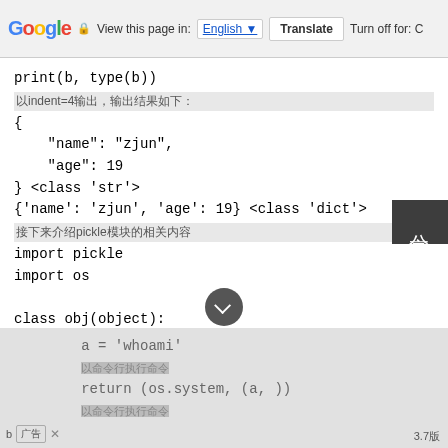Google | View this page in: English [▼] | Translate | Turn off for: C
[Figure (screenshot): Code snippet showing Python JSON and pickle usage with Chinese comments. Code includes: print(b, type(b)), Chinese comment about indent=4, JSON block with name:zjun age:19, class str output, dict output, Chinese comment about pickle module, import pickle, import os, class obj(object): def __reduce__(self):]
分享 (Share sidebar in Chinese)
a = 'whoami' [Chinese comment] return (os.system, (a, )) [Chinese comment]
3.7版